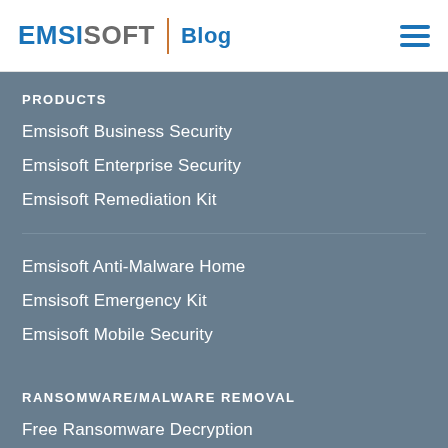EMSISOFT Blog
PRODUCTS
Emsisoft Business Security
Emsisoft Enterprise Security
Emsisoft Remediation Kit
Emsisoft Anti-Malware Home
Emsisoft Emergency Kit
Emsisoft Mobile Security
RANSOMWARE/MALWARE REMOVAL
Free Ransomware Decryption